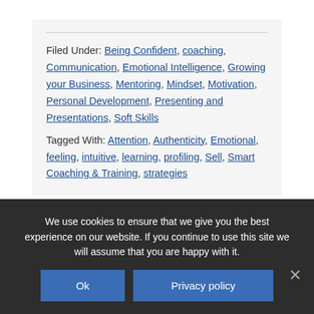Filed Under: Being Confident, coaching, Communication, Emotional Intelligence, Growing your Business, Mentoring, Mindset, Motivation, Personal Development, Presenting and Presentations, Soft Skills
Tagged With: Attention, Authenticity, Emotional, feeling, intuitive, learning, profiling, Sell, Smart Coaching & Training, strategies
We use cookies to ensure that we give you the best experience on our website. If you continue to use this site we will assume that you are happy with it.